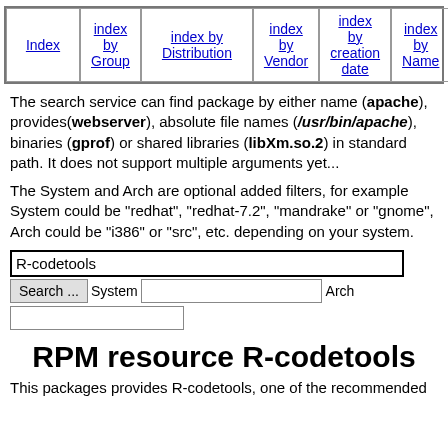Index | index by Group | index by Distribution | index by Vendor | index by creation date | index by Name | Mirr
The search service can find package by either name (apache), provides(webserver), absolute file names (/usr/bin/apache), binaries (gprof) or shared libraries (libXm.so.2) in standard path. It does not support multiple arguments yet...
The System and Arch are optional added filters, for example System could be "redhat", "redhat-7.2", "mandrake" or "gnome", Arch could be "i386" or "src", etc. depending on your system.
Search form with R-codetools pre-filled, System and Arch fields
RPM resource R-codetools
This packages provides R-codetools, one of the recommended